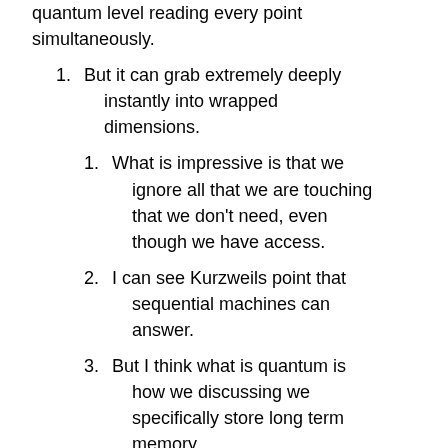quantum level reading every point simultaneously.
But it can grab extremely deeply instantly into wrapped dimensions.
What is impressive is that we ignore all that we are touching that we don't need, even though we have access.
I can see Kurzweils point that sequential machines can answer.
But I think what is quantum is how we discussing we specifically store long term memory.
It's the Proustian madeline cake, a memory that is stored